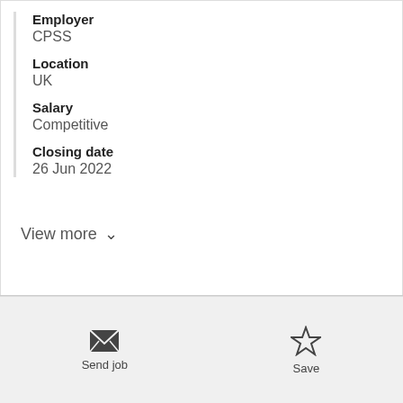Employer
CPSS
Location
UK
Salary
Competitive
Closing date
26 Jun 2022
View more
Send job
Save